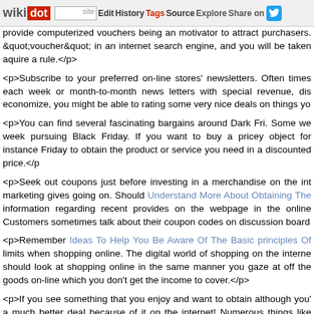wikidot | site Edit History Tags Source Explore Share on Twitter
provide computerized vouchers being an motivator to attract purchasers. &quot;voucher&quot; in an internet search engine, and you will be taken aquire a rule.</p>
<p>Subscribe to your preferred on-line stores' newsletters. Often times each week or month-to-month news letters with special revenue, dis economize, you might be able to rating some very nice deals on things yo
<p>You can find several fascinating bargains around Dark Fri. Some we week pursuing Black Friday. If you want to buy a pricey object for instance Friday to obtain the product or service you need in a discounted price.</p
<p>Seek out coupons just before investing in a merchandise on the int marketing gives going on. Should Understand More About Obtaining The information regarding recent provides on the webpage in the online Customers sometimes talk about their coupon codes on discussion board
<p>Remember Ideas To Help You Be Aware Of The Basic principles Of limits when shopping online. The digital world of shopping on the interne should look at shopping online in the same manner you gaze at off the goods on-line which you don't get the income to cover.</p>
<p>If you see something that you enjoy and want to obtain although you' a much better deal because of it on the internet! Numerous things like performing a speedy search on the internet will save you a few bucks.</p>
<p>Shopping on the internet has enhanced to the stage where you could can even do your grocery shopping on the web. Your ability to succeed a on the web could differ because of your spot and also the items you purch time and money and get every thing delivered, all with out ever having to ab